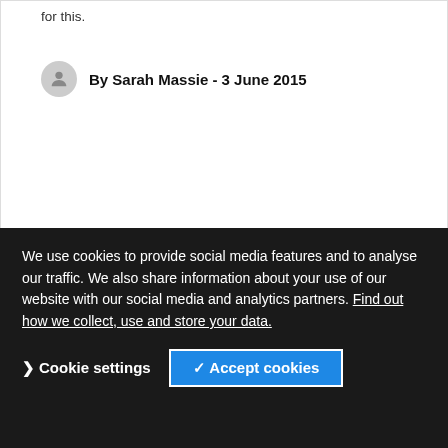for this.
By Sarah Massie - 3 June 2015
Article
Build a clearer clinical workforce picture to tackle the challenges it faces
Discussions about the NHS workforce have been prominent in the current election campaign and arose during the recent health debate.
We use cookies to provide social media features and to analyse our traffic. We also share information about your use of our website with our social media and analytics partners. Find out how we collect, use and store your data.
Report
Workforce planning for h...